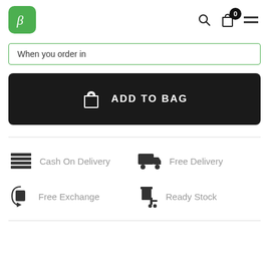[Figure (screenshot): E-commerce mobile app header with green beta logo, search icon, bag icon with 0 badge, and hamburger menu]
When you order in
[Figure (screenshot): Add to Bag dark button with shopping bag icon]
[Figure (infographic): Four feature icons: Cash On Delivery, Free Delivery, Free Exchange, Ready Stock]